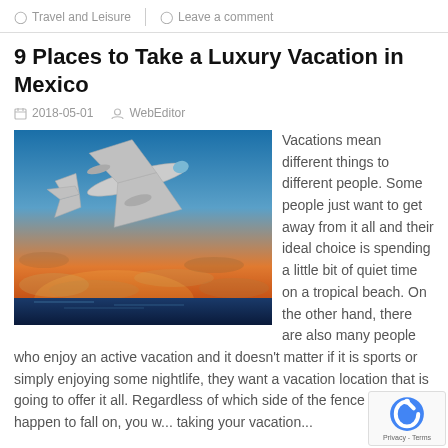Travel and Leisure   Leave a comment
9 Places to Take a Luxury Vacation in Mexico
2018-05-01   WebEditor
[Figure (photo): Airplane flying against a colorful sunset sky over water]
Vacations mean different things to different people. Some people just want to get away from it all and their ideal choice is spending a little bit of quiet time on a tropical beach. On the other hand, there are also many people who enjoy an active vacation and it doesn't matter if it is sports or simply enjoying some nightlife, they want a vacation location that is going to offer it all. Regardless of which side of the fence you happen to fall on, you w... taking your vacation...